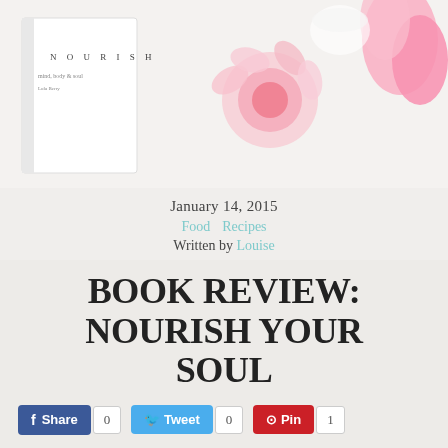[Figure (photo): Photo of the NOURISH book cover with pink flowers on a white background]
January 14, 2015
Food  Recipes
Written by Louise
BOOK REVIEW: NOURISH YOUR SOUL
Share 0  Tweet 0  Pin 1
In the New Year we often make resolutions, positive changes and an effort to look after ourselves. Why do we wait for the New Year?! It's something we should always be doing! Looking after yourself also means a